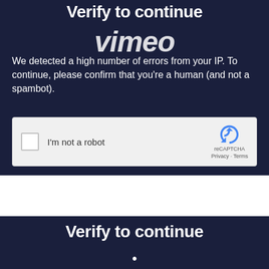Verify to continue
[Figure (logo): Vimeo logo watermark overlay in white italic bold text]
We detected a high number of errors from your IP. To continue, please confirm that you’re a human (and not a spambot).
[Figure (screenshot): reCAPTCHA widget with checkbox labeled I'm not a robot, reCAPTCHA branding with Privacy and Terms links]
Verify to continue